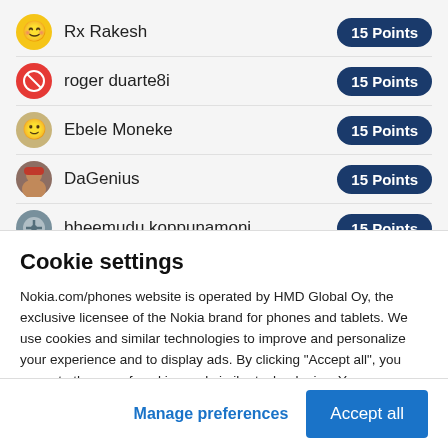Rx Rakesh — 15 Points
roger duarte8i — 15 Points
Ebele Moneke — 15 Points
DaGenius — 15 Points
bheemudu koppunamoni — 15 Points
Daniel Zurek — 15 Points
Cookie settings
Nokia.com/phones website is operated by HMD Global Oy, the exclusive licensee of the Nokia brand for phones and tablets. We use cookies and similar technologies to improve and personalize your experience and to display ads. By clicking "Accept all", you agree to the use of cookies and similar technologies. You can change your settings at any time by selecting "Cookie Settings" at the bottom of the site. Learn more about our cookie